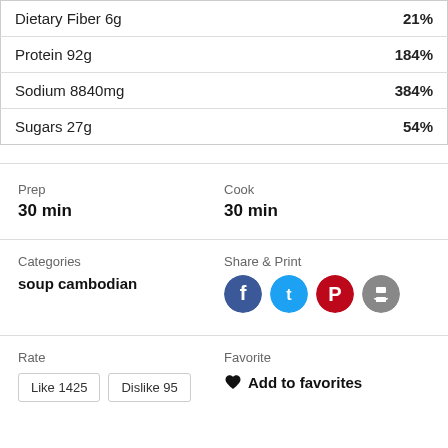| Nutrient | % Daily Value |
| --- | --- |
| Dietary Fiber 6g | 21% |
| Protein 92g | 184% |
| Sodium 8840mg | 384% |
| Sugars 27g | 54% |
Prep: 30 min
Cook: 30 min
Categories: soup cambodian
Share & Print
Rate
Like 1425 / Dislike 95
Favorite
Add to favorites